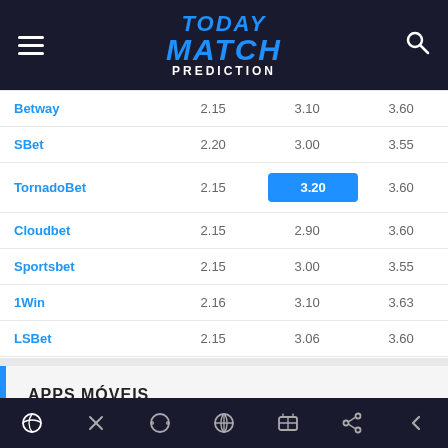TODAY MATCH PREDICTION
| Bookmaker | 1 | X | 2 |
| --- | --- | --- | --- |
| Betway | 2.15 | 3.10 | 3.60 |
| SBet | 2.20 | 3.00 | 3.55 |
| TornadoBet | 2.15 | 3.20 | 3.60 |
| Cloudbet | 2.15 | 2.90 | 3.60 |
| Sportsbet | 2.15 | 3.00 | 3.55 |
| 1Win | 2.16 | 3.10 | 3.63 |
| LSBet | 2.15 | 3.06 | 3.60 |
APPS MÓVEIS